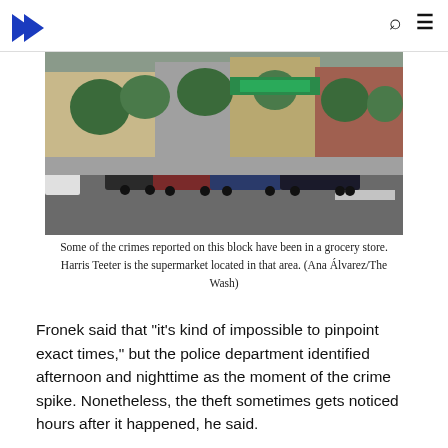[Figure (photo): Street-level photo showing a shopping area with parked cars, trees, and a Harris Teeter supermarket storefront visible in the background.]
Some of the crimes reported on this block have been in a grocery store. Harris Teeter is the supermarket located in that area. (Ana Álvarez/The Wash)
Fronek said that "it's kind of impossible to pinpoint exact times," but the police department identified afternoon and nighttime as the moment of the crime spike. Nonetheless, the theft sometimes gets noticed hours after it happened, he said.